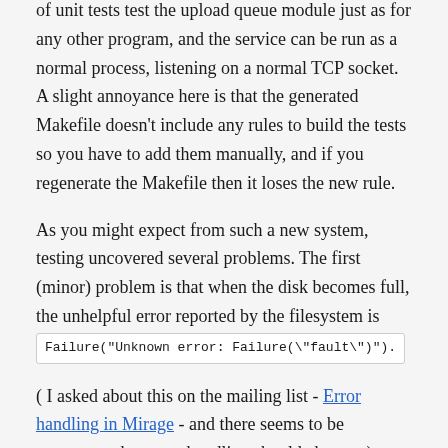of unit tests test the upload queue module just as for any other program, and the service can be run as a normal process, listening on a normal TCP socket. A slight annoyance here is that the generated Makefile doesn't include any rules to build the tests so you have to add them manually, and if you regenerate the Makefile then it loses the new rule.
As you might expect from such a new system, testing uncovered several problems. The first (minor) problem is that when the disk becomes full, the unhelpful error reported by the filesystem is
Failure("Unknown error: Failure(\"fault\")").
( I asked about this on the mailing list - Error handling in Mirage - and there seems to be agreement that error handling should change. )
A more serious problem was that deleting files corrupted the...